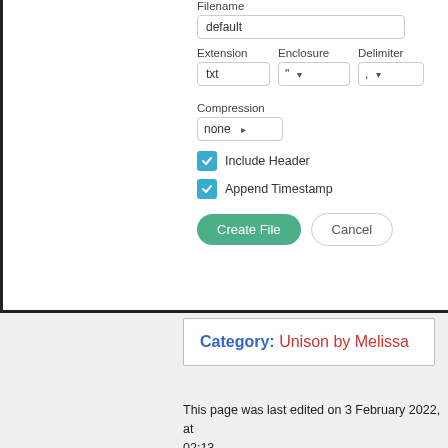[Figure (screenshot): A UI dialog showing file export options: Filename field with 'default', Extension 'txt', Enclosure '*' dropdown, Delimiter ',' dropdown, Compression 'none' dropdown, Include Header checkbox (checked), Append Timestamp checkbox (checked), Create File and Cancel buttons.]
Category:  Unison by Melissa
This page was last edited on 3 February 2022, at 02:13.
Privacy policy   About Melissa Data Wiki
Disclaimers
[Figure (logo): Powered by MediaWiki logo badge]